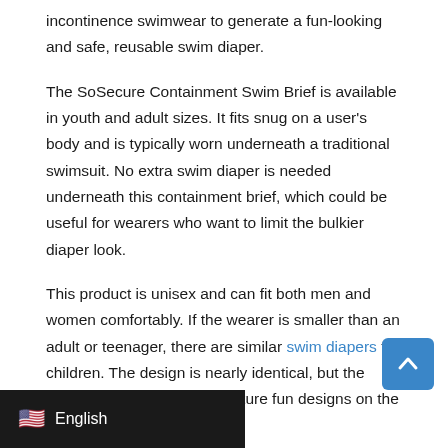incontinence swimwear to generate a fun-looking and safe, reusable swim diaper.
The SoSecure Containment Swim Brief is available in youth and adult sizes. It fits snug on a user's body and is typically worn underneath a traditional swimsuit. No extra swim diaper is needed underneath this containment brief, which could be useful for wearers who want to limit the bulkier diaper look.
This product is unisex and can fit both men and women comfortably. If the wearer is smaller than an adult or teenager, there are similar swim diapers for children. The design is nearly identical, but the children's briefs can also feature fun designs on the adjustable velcro closures.
Those adjustable closures are a signature feature for these swim briefs. They maximize containment and secure the swim diaper to the body firmly. Its elastic waistline and leg areas ensure